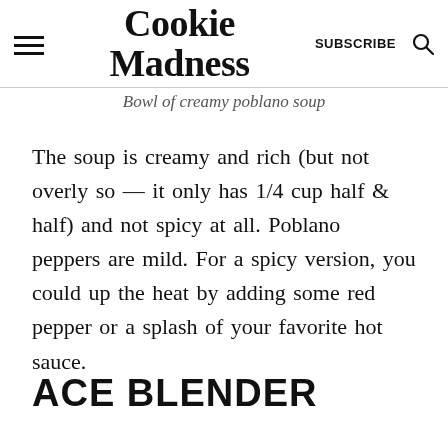Cookie Madness | SUBSCRIBE
Bowl of creamy poblano soup
The soup is creamy and rich (but not overly so — it only has 1/4 cup half & half) and not spicy at all. Poblano peppers are mild. For a spicy version, you could up the heat by adding some red pepper or a splash of your favorite hot sauce.
ACE BLENDER